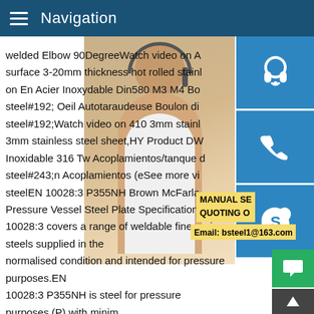Navigation
[Figure (photo): Woman with headset, customer service representative, smiling, with blue contact icon buttons on right side (headset, phone, Skype)]
welded Elbow 90DegreeWatch video on A surface 3-20mm thickness hot rolled stainless on En Acier Inoxydable Din580 M3 M4 Bo steel#192; Oeil Autotaraudeuse Boulon din steel#192;Watch video on 410 3mm stainless 3mm stainless steel sheet,HY Product DW Inoxidable 316 Tw Acoplamientos/tanque de steel#243;n Acoplamientos (eSee more vi steelEN 10028:3 P355NH Brown McFarla Pressure Vessel Steel Plate Specifications 10028:3 covers a range of weldable fine grain steels supplied in the normalised condition and intended for pressure purposes.EN 10028:3 P355NH is steel for pressure purposes (P) with minimum yield strength of 355 MPa (355) which has specified elevated temperature properties (NH).P355NL2 acc.to DIN EN 10028-3 AncoferP355NL2 acc.to DIN EN 10028-3 We keep the following